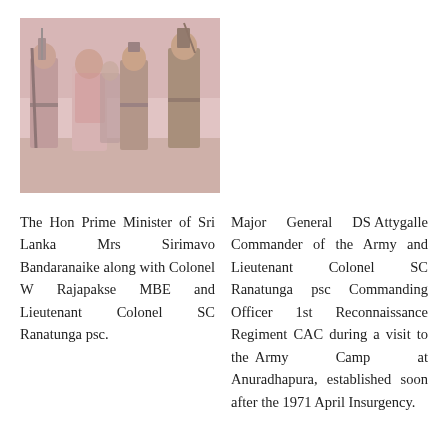[Figure (photo): Black and white photograph (with pink tint) showing the Hon Prime Minister of Sri Lanka Mrs Sirimavo Bandaranaike along with military officers including Colonel W Rajapakse MBE and Lieutenant Colonel SC Ranatunga psc.]
The Hon Prime Minister of Sri Lanka Mrs Sirimavo Bandaranaike along with Colonel W Rajapakse MBE and Lieutenant Colonel SC Ranatunga psc.
Major General DS Attygalle Commander of the Army and Lieutenant Colonel SC Ranatunga psc Commanding Officer 1st Reconnaissance Regiment CAC during a visit to the Army Camp at Anuradhapura, established soon after the 1971 April Insurgency.